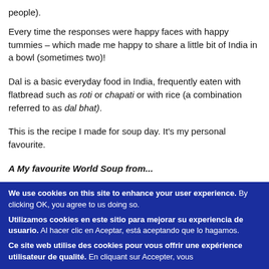people).
Every time the responses were happy faces with happy tummies – which made me happy to share a little bit of India in a bowl (sometimes two)!
Dal is a basic everyday food in India, frequently eaten with flatbread such as roti or chapati or with rice (a combination referred to as dal bhat).
This is the recipe I made for soup day. It's my personal favourite.
A My favourite World Soup from...
We use cookies on this site to enhance your user experience. By clicking OK, you agree to us doing so.
Utilizamos cookies en este sitio para mejorar su experiencia de usuario. Al hacer clic en Aceptar, está aceptando que lo hagamos.
Ce site web utilise des cookies pour vous offrir une expérience utilisateur de qualité. En cliquant sur Accepter, vous...